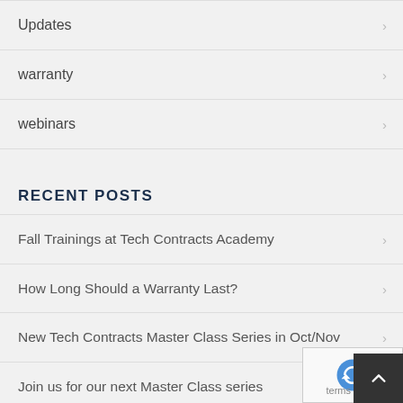Updates
warranty
webinars
RECENT POSTS
Fall Trainings at Tech Contracts Academy
How Long Should a Warranty Last?
New Tech Contracts Master Class Series in Oct/Nov
Join us for our next Master Class series
Tech Contracts Training in September